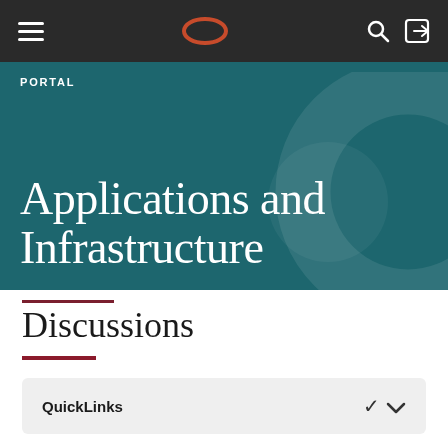PORTAL
Applications and Infrastructure
Discussions
QuickLinks